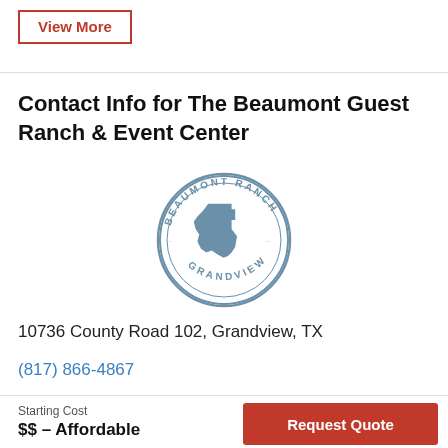View More
Contact Info for The Beaumont Guest Ranch & Event Center
[Figure (logo): Beaumont Ranch Grandview circular seal logo with Texas state outline in the center, steel blue color]
10736 County Road 102, Grandview, TX
(817) 866-4867
Starting Cost
$$ – Affordable
Request Quote